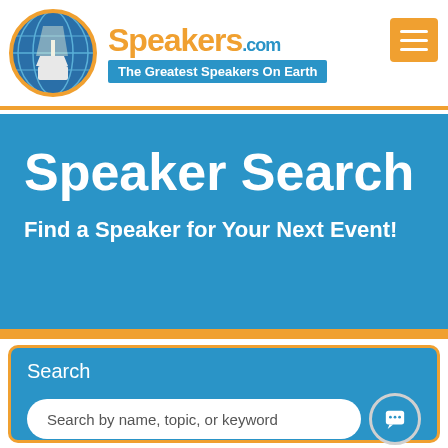[Figure (logo): Speakers.com logo with globe and podium icon, orange text 'Speakers.com' and blue banner 'The Greatest Speakers On Earth']
Speaker Search
Find a Speaker for Your Next Event!
Search
Search by name, topic, or keyword